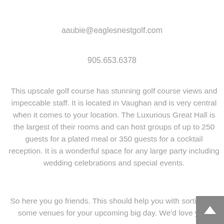aaubie@eaglesnestgolf.com
905.653.6378
This upscale golf course has stunning golf course views and impeccable staff. It is located in Vaughan and is very central when it comes to your location. The Luxurious Great Hall is the largest of their rooms and can host groups of up to 250 guests for a plated meal or 350 guests for a cocktail reception. It is a wonderful space for any large party including wedding celebrations and special events.
So here you go friends. This should help you with sorting out some venues for your upcoming big day. We'd love your